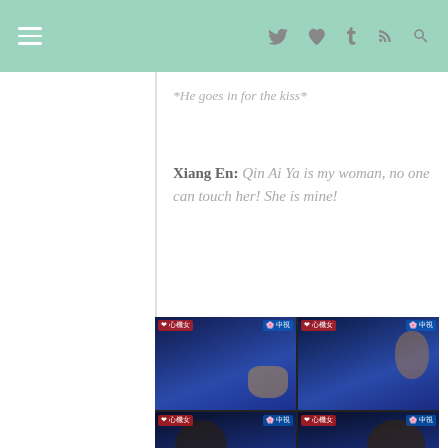≡  (navigation icons: twitter, heart, tumblr, rss, search)
*He goes in for the kiss*
Xiang En: Qin Ai Ya is my woman, no one can touch her! She is mine!
[Figure (photo): Four-panel grid of TV screenshots showing two people in a romantic scene, blue-toned lighting, with Chinese watermarks reading 中視]